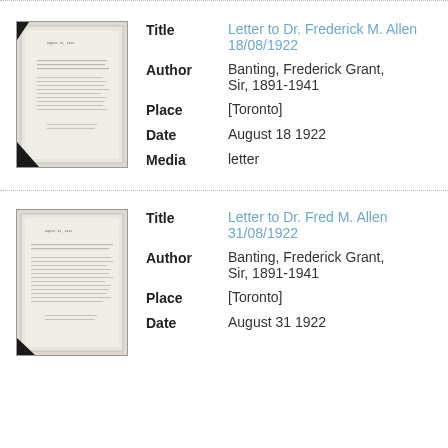[Figure (photo): Thumbnail image of a typed letter document, aged paper with text visible]
Title: Letter to Dr. Frederick M. Allen 18/08/1922
Author: Banting, Frederick Grant, Sir, 1891-1941
Place: [Toronto]
Date: August 18 1922
Media: letter
[Figure (photo): Thumbnail image of a typed letter document, aged paper with text visible]
Title: Letter to Dr. Fred M. Allen 31/08/1922
Author: Banting, Frederick Grant, Sir, 1891-1941
Place: [Toronto]
Date: August 31 1922